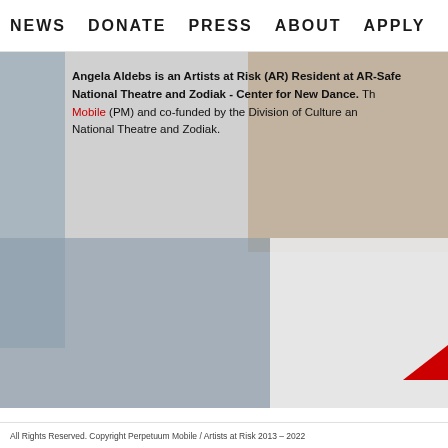NEWS   DONATE   PRESS   ABOUT   APPLY
Angela Aldebs is an Artists at Risk (AR) Resident at AR-Safe National Theatre and Zodiak - Center for New Dance. The Mobile (PM) and co-funded by the Division of Culture and National Theatre and Zodiak.
[Figure (photo): Background collage of photos: left panel showing blue-toned figures, right panel showing warm-toned interior scene, bottom panel showing dark theater/stage scene]
All Rights Reserved. Copyright Perpetuum Mobile / Artists at Risk 2013 – 2022